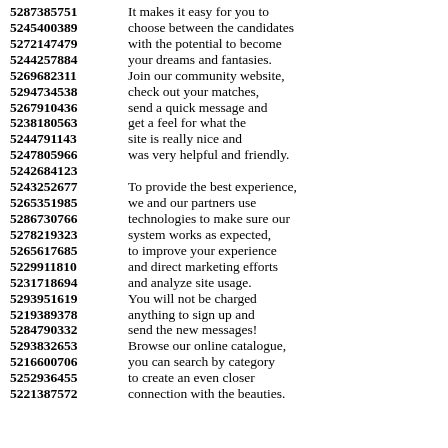5287385751 It makes it easy for you to
5245400389 choose between the candidates
5272147479 with the potential to become
5244257884 your dreams and fantasies.
5269682311 Join our community website,
5294734538 check out your matches,
5267910436 send a quick message and
5238180563 get a feel for what the
5244791143 site is really nice and
5247805966 was very helpful and friendly.
5242684123
5243252677 To provide the best experience,
5265351985 we and our partners use
5286730766 technologies to make sure our
5278219323 system works as expected,
5265617685 to improve your experience
5229911810 and direct marketing efforts
5231718694 and analyze site usage.
5293951619 You will not be charged
5219389378 anything to sign up and
5284790332 send the new messages!
5293832653 Browse our online catalogue,
5216600706 you can search by category
5252936455 to create an even closer
5221387572 connection with the beauties.